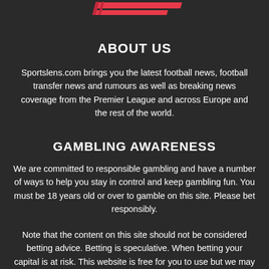[Figure (logo): Sportslens logo with red diagonal stripes and text]
ABOUT US
Sportslens.com brings you the latest football news, football transfer news and rumours as well as breaking news coverage from the Premier League and across Europe and the rest of the world.
GAMBLING AWARENESS
We are committed to responsible gambling and have a number of ways to help you stay in control and keep gambling fun. You must be 18 years old or over to gamble on this site. Please bet responsibly.
Note that the content on this site should not be considered betting advice. Betting is speculative. When betting your capital is at risk. This website is free for you to use but we may receive